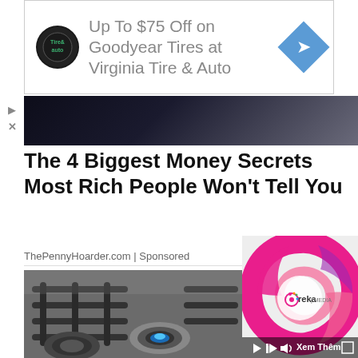[Figure (other): Advertisement banner: 'Up To $75 Off on Goodyear Tires at Virginia Tire & Auto' with logo and blue diamond arrow icon]
[Figure (photo): Dark gradient image bar at top of article]
The 4 Biggest Money Secrets Most Rich People Won't Tell You
ThePennyHoarder.com | Sponsored
X  ADVERTISING
[Figure (photo): Close-up photo of gas stove burners with blue flame visible]
[Figure (logo): Ureka Media video ad overlay with pink swirl logo, play/mute controls, and 'Xem Thêm' (See More) button]